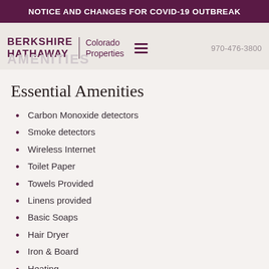NOTICE AND CHANGES FOR COVID-19 OUTBREAK
[Figure (logo): Berkshire Hathaway Colorado Properties logo with hamburger menu and phone number 970-476-3800, and AMENITIES watermark text]
Essential Amenities
Carbon Monoxide detectors
Smoke detectors
Wireless Internet
Toilet Paper
Towels Provided
Linens provided
Basic Soaps
Hair Dryer
Iron & Board
Heating
Shampoo
Clothes Dryer